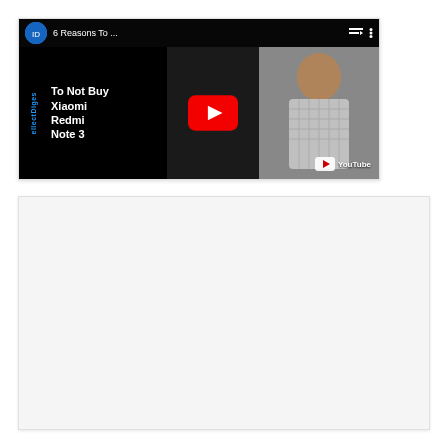[Figure (screenshot): Embedded YouTube video thumbnail showing '6 Reasons To...' video about Xiaomi Redmi Note 3, with red YouTube play button overlay, channel avatar, and person in checkered shirt visible on right side]
[Figure (screenshot): Light gray empty box/placeholder area below the YouTube embed, likely representing another embedded content area]